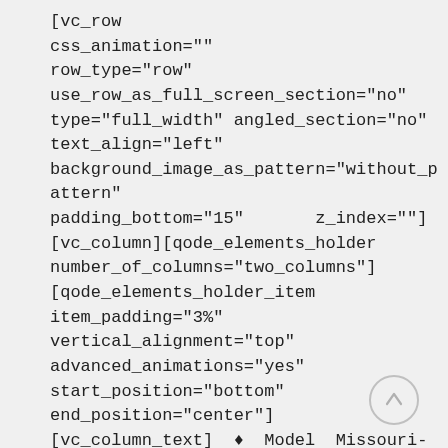[vc_row                css_animation=""
row_type="row"
use_row_as_full_screen_section="no"
type="full_width" angled_section="no"
text_align="left"
background_image_as_pattern="without_pattern"
padding_bottom="15"       z_index=""]
[vc_column][qode_elements_holder
number_of_columns="two_columns"]
[qode_elements_holder_item
item_padding="3%"
vertical_alignment="top"
advanced_animations="yes"
start_position="bottom"
end_position="center"]
[vc_column_text]  ♦  Model  Missouri-
[Figure (other): Circular arrow-up button in light gray]